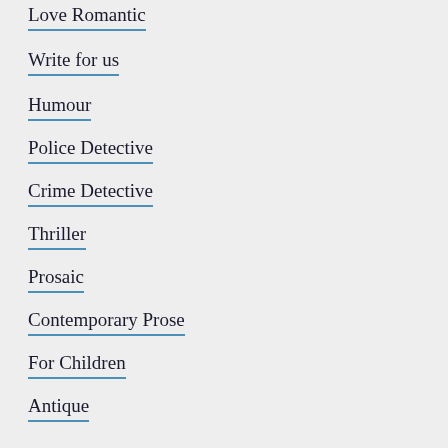Love Romantic
Write for us
Humour
Police Detective
Crime Detective
Thriller
Prosaic
Contemporary Prose
For Children
Antique